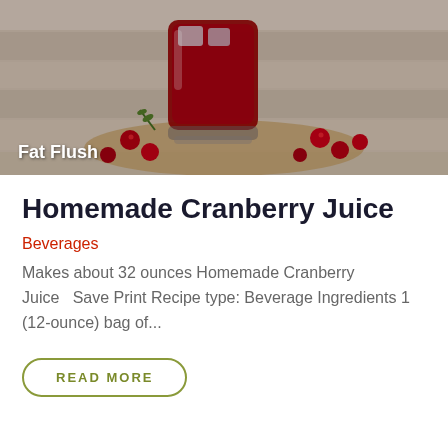[Figure (photo): A glass of deep red cranberry juice with ice cubes, surrounded by fresh cranberries on a burlap mat, with a white wood plank background. Text overlay reads 'Fat Flush' in white.]
Homemade Cranberry Juice
Beverages
Makes about 32 ounces Homemade Cranberry Juice   Save Print Recipe type: Beverage Ingredients 1 (12-ounce) bag of...
READ MORE